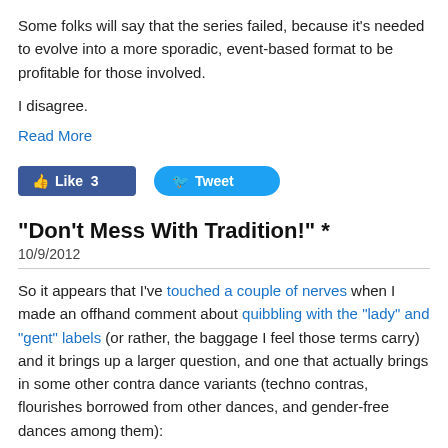Some folks will say that the series failed, because it's needed to evolve into a more sporadic, event-based format to be profitable for those involved.
I disagree.
Read More
[Figure (other): Social media buttons: Facebook Like (3) and Tweet buttons]
"Don't Mess With Tradition!" *
10/9/2012
So it appears that I've touched a couple of nerves when I made an offhand comment about quibbling with the "lady" and "gent" labels (or rather, the baggage I feel those terms carry) and it brings up a larger question, and one that actually brings in some other contra dance variants (techno contras, flourishes borrowed from other dances, and gender-free dances among them):